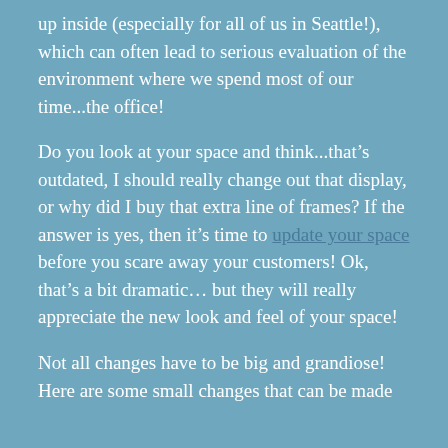up inside (especially for all of us in Seattle!), which can often lead to serious evaluation of the environment where we spend most of our time...the office!
Do you look at your space and think...that's outdated, I should really change out that display, or why did I buy that extra line of frames? If the answer is yes, then it's time to update your space before you scare away your customers! Ok, that's a bit dramatic… but they will really appreciate the new look and feel of your space!
Not all changes have to be big and grandiose! Here are some small changes that can be made